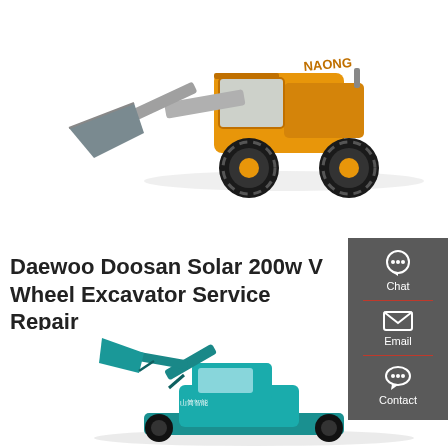[Figure (photo): Yellow wheel loader / front-end loader construction machine with a large grey bucket, brand logo visible on the side]
Daewoo Doosan Solar 200w V Wheel Excavator Service Repair
daewoo doosan solar 200w v wheel excavator service repair shop manual instant download.
Get a quote
[Figure (photo): Teal/cyan mini excavator with Chinese text on the arm, shown from the side]
Chat
Email
Contact